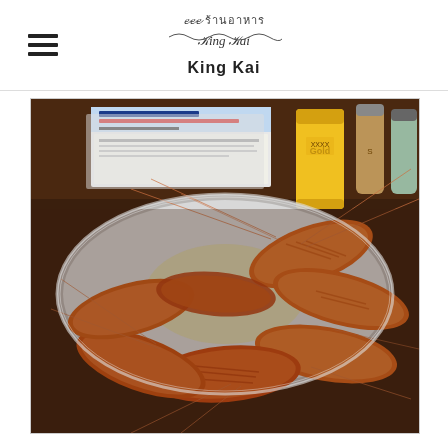King Kai
[Figure (photo): A plate of large cooked prawns/shrimp on a metal plate on a wooden table, with a yellow beer can and condiment bottles in the background, along with what appears to be a newspaper or magazine.]